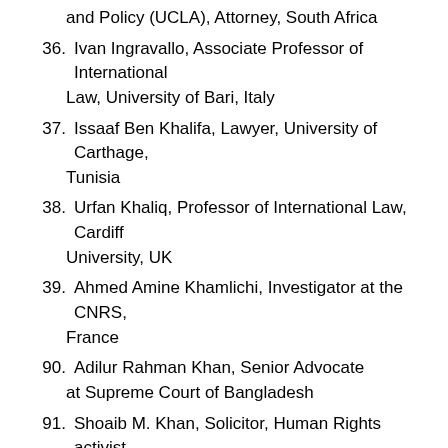and Policy (UCLA), Attorney, South Africa
36. Ivan Ingravallo, Associate Professor of International Law, University of Bari, Italy
37. Issaaf Ben Khalifa, Lawyer, University of Carthage, Tunisia
38. Urfan Khaliq, Professor of International Law, Cardiff University, UK
39. Ahmed Amine Khamlichi, Investigator at the CNRS, France
90. Adilur Rahman Khan, Senior Advocate at Supreme Court of Bangladesh
91. Shoaib M. Khan, Solicitor, Human Rights activist, London, UK
92. Daniela Kravetz, International Criminal Justice and Gender Expert, The Hague, The Netherlands
93. Azra Kuci, Human Rights Lawyer, LLM Graduate,